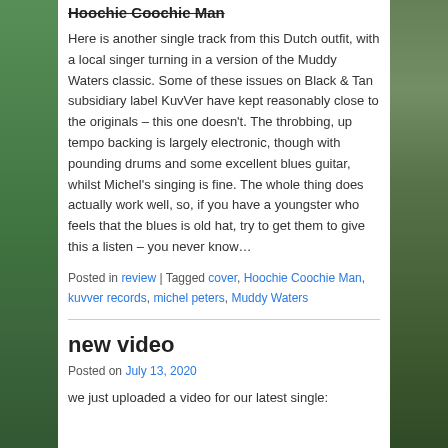Hoochie Coochie Man
Here is another single track from this Dutch outfit, with a local singer turning in a version of the Muddy Waters classic. Some of these issues on Black & Tan subsidiary label KuvVer have kept reasonably close to the originals – this one doesn't. The throbbing, up tempo backing is largely electronic, though with pounding drums and some excellent blues guitar, whilst Michel's singing is fine. The whole thing does actually work well, so, if you have a youngster who feels that the blues is old hat, try to get them to give this a listen – you never know…
Posted in review | Tagged cover, Hoochie Coochie Man, kuvver records, michel peters, Muddy Waters
new video
Posted on July 13, 2020
we just uploaded a video for our latest single: